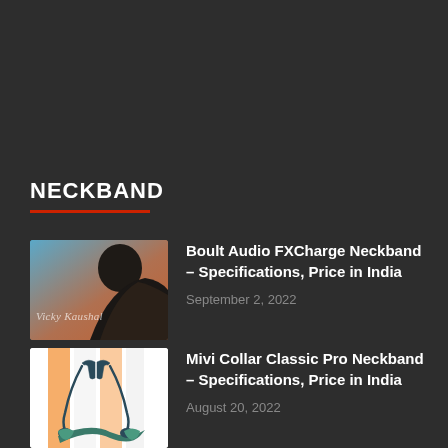NECKBAND
[Figure (photo): Photo of Vicky Kaushal wearing neckband earphones, promotional image for Boult Audio FXCharge]
Boult Audio FXCharge Neckband – Specifications, Price in India
September 2, 2022
[Figure (photo): Product image of Mivi Collar Classic Pro Neckband on colorful striped background]
Mivi Collar Classic Pro Neckband – Specifications, Price in India
August 20, 2022